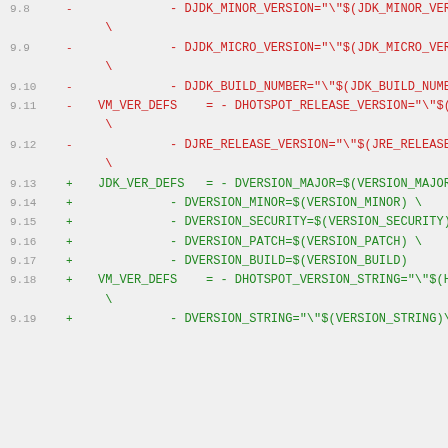Code diff showing removed and added lines for JDK/JRE version macro definitions in a Makefile, lines 9.8 through 9.19
9.8  -   - DJDK_MINOR_VERSION="\"$(JDK_MINOR_VERSION)\" \
9.9  -   - DJDK_MICRO_VERSION="\"$(JDK_MICRO_VERSION)\" \
9.10 -   - DJDK_BUILD_NUMBER="\"$(JDK_BUILD_NUMBER)\""
9.11 -VM_VER_DEFS = - DHOTSPOT_RELEASE_VERSION="\"$(HS_BUILD_VER)\ \
9.12 -   - DJRE_RELEASE_VERSION="\"$(JRE_RELEASE_VER)\" \
9.13 +JDK_VER_DEFS = - DVERSION_MAJOR=$(VERSION_MAJOR) \
9.14 +   - DVERSION_MINOR=$(VERSION_MINOR) \
9.15 +   - DVERSION_SECURITY=$(VERSION_SECURITY) \
9.16 +   - DVERSION_PATCH=$(VERSION_PATCH) \
9.17 +   - DVERSION_BUILD=$(VERSION_BUILD)
9.18 +VM_VER_DEFS = - DHOTSPOT_VERSION_STRING="\"$(HOTSPOT_VERSION \
9.19 +   - DVERSION_STRING="\"$(VERSION_STRING)\"" \